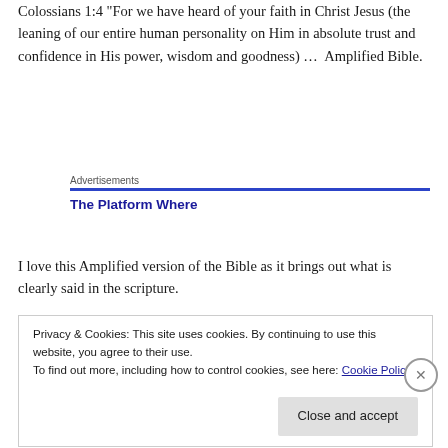Colossians 1:4 “For we have heard of your faith in Christ Jesus (the leaning of our entire human personality on Him in absolute trust and confidence in His power, wisdom and goodness) …  Amplified Bible.
Advertisements
The Platform Where
I love this Amplified version of the Bible as it brings out what is clearly said in the scripture.
Privacy & Cookies: This site uses cookies. By continuing to use this website, you agree to their use.
To find out more, including how to control cookies, see here: Cookie Policy
Close and accept